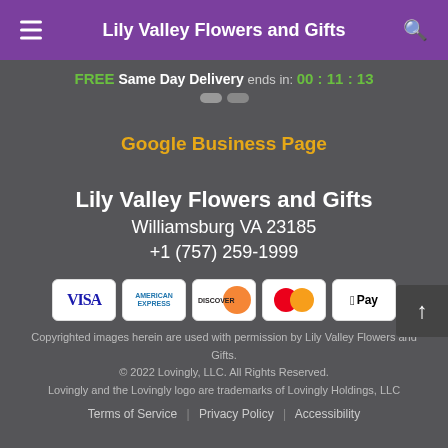Lily Valley Flowers and Gifts
FREE Same Day Delivery ends in: 00:11:13
Google Business Page
Lily Valley Flowers and Gifts
Williamsburg VA 23185
+1 (757) 259-1999
[Figure (logo): Payment method badges: Visa, American Express, Discover, MasterCard, Apple Pay]
Copyrighted images herein are used with permission by Lily Valley Flowers and Gifts.
© 2022 Lovingly, LLC. All Rights Reserved.
Lovingly and the Lovingly logo are trademarks of Lovingly Holdings, LLC
Terms of Service | Privacy Policy | Accessibility